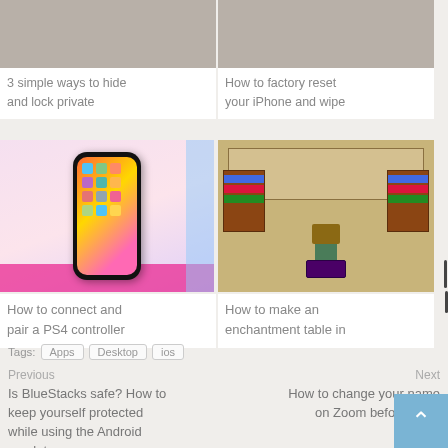[Figure (photo): Article card image placeholder (cropped top)]
3 simple ways to hide and lock private
[Figure (photo): Article card image placeholder (cropped top)]
How to factory reset your iPhone and wipe
[Figure (photo): iPhone on pink background showing home screen with colorful app icons]
How to connect and pair a PS4 controller
[Figure (photo): Minecraft enchantment table scene with character]
How to make an enchantment table in
Tags: Apps Desktop ios
Previous
Is BlueStacks safe? How to keep yourself protected while using the Android emulator
Next
How to change your name on Zoom before or during a meeting